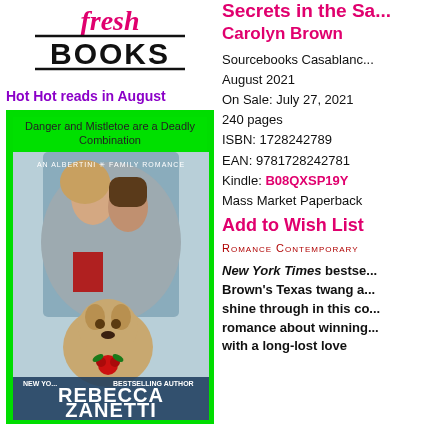[Figure (logo): Fresh Books logo with cursive 'fresh' in pink and bold 'BOOKS' with double underline]
Hot Hot reads in August
[Figure (photo): Book cover for a Rebecca Zanetti novel - An Albertini Family Romance. Cover shows couple embracing under a blanket with a dog wearing a red bow. Author name Rebecca Zanetti and 'New York Times Bestselling Author' text. Green border around cover with tagline 'Danger and Mistletoe are a Deadly Combination']
Secrets in the Sa... Carolyn Brown
Sourcebooks Casablanc... August 2021
On Sale: July 27, 2021
240 pages
ISBN: 1728242789
EAN: 9781728242781
Kindle: B08QXSP19Y
Mass Market Paperback
Add to Wish List
Romance Contemporary
New York Times bestse... Brown's Texas twang a... shine through in this co... romance about winning... with a long-lost love